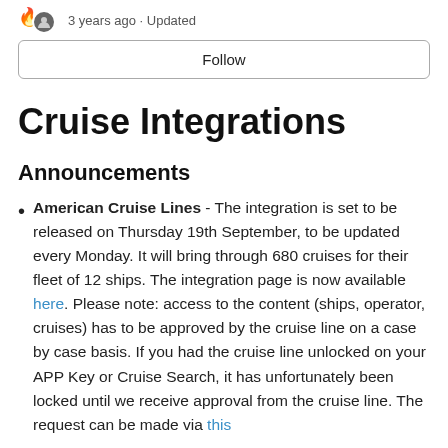3 years ago · Updated
Follow
Cruise Integrations
Announcements
American Cruise Lines - The integration is set to be released on Thursday 19th September, to be updated every Monday. It will bring through 680 cruises for their fleet of 12 ships. The integration page is now available here. Please note: access to the content (ships, operator, cruises) has to be approved by the cruise line on a case by case basis. If you had the cruise line unlocked on your APP Key or Cruise Search, it has unfortunately been locked until we receive approval from the cruise line. The request can be made via this